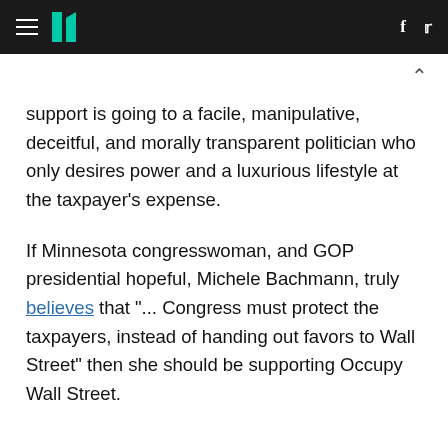HuffPost navigation with hamburger menu, logo, Facebook and Twitter icons
support is going to a facile, manipulative, deceitful, and morally transparent politician who only desires power and a luxurious lifestyle at the taxpayer's expense.
If Minnesota congresswoman, and GOP presidential hopeful, Michele Bachmann, truly believes that "... Congress must protect the taxpayers, instead of handing out favors to Wall Street" then she should be supporting Occupy Wall Street.